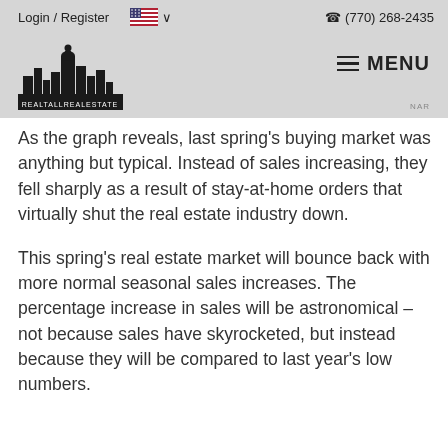Login / Register  🇺🇸 ∨   ☎ (770) 268-2435
[Figure (logo): RealTallRealEstate logo: city skyline silhouette with a tall figure, text REALTALLREALESTATE below]
≡ MENU
NAR
As the graph reveals, last spring's buying market was anything but typical. Instead of sales increasing, they fell sharply as a result of stay-at-home orders that virtually shut the real estate industry down.
This spring's real estate market will bounce back with more normal seasonal sales increases. The percentage increase in sales will be astronomical – not because sales have skyrocketed, but instead because they will be compared to last year's low numbers.